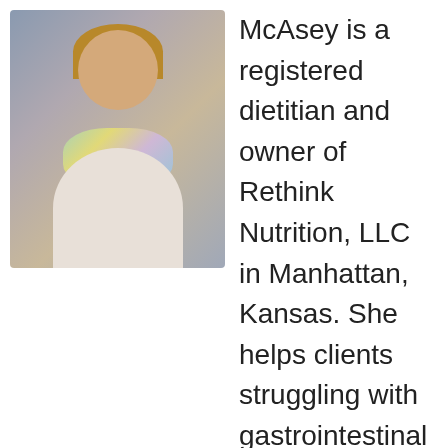[Figure (photo): Professional headshot of a woman with long blonde hair, smiling, wearing a colorful floral scarf and light blazer, against a blue-grey background.]
McAsey is a registered dietitian and owner of Rethink Nutrition, LLC in Manhattan, Kansas. She helps clients struggling with gastrointestinal (GI) disorders and immune system dysfunctions such as fibromyalgia, eczema, inflammatory conditions, and autoimmune diseases. Anna and her team have helped thousands of